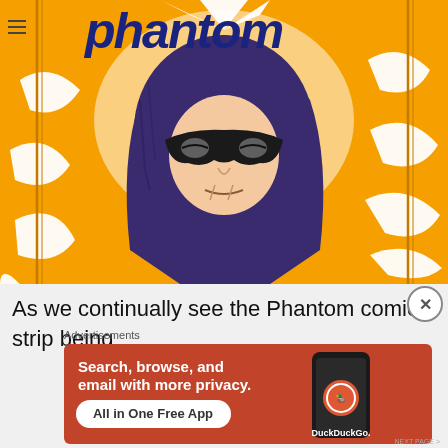[Figure (illustration): Comic strip illustration of The Phantom superhero character in purple hood and mask, with orange sunburst background and blue stylized title text 'Phantom' at top]
As we continually see the Phantom comic strip being
Advertisements
[Figure (infographic): DuckDuckGo advertisement on orange-red background with text 'Search, browse, and email with more privacy. All in One Free App' and a phone showing the DuckDuckGo app]